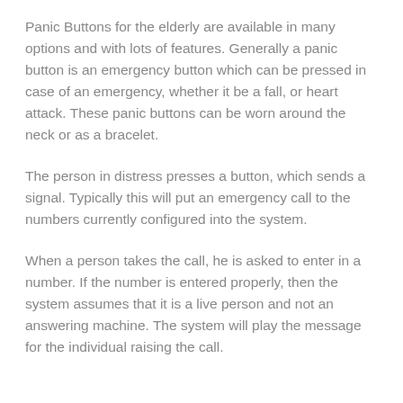Panic Buttons for the elderly are available in many options and with lots of features. Generally a panic button is an emergency button which can be pressed in case of an emergency, whether it be a fall, or heart attack. These panic buttons can be worn around the neck or as a bracelet.
The person in distress presses a button, which sends a signal. Typically this will put an emergency call to the numbers currently configured into the system.
When a person takes the call, he is asked to enter in a number. If the number is entered properly, then the system assumes that it is a live person and not an answering machine. The system will play the message for the individual raising the call.